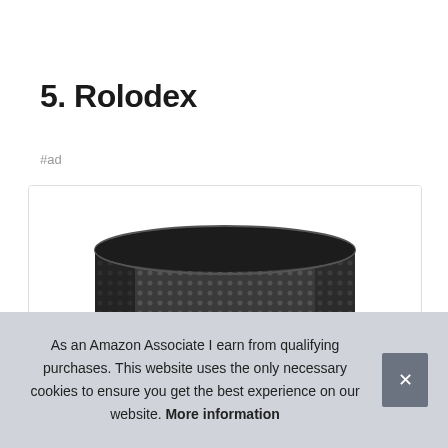5. Rolodex
#ad
[Figure (photo): A cylindrical black mesh/perforated metal product (Rolodex or similar desk organizer) shown against a white background inside a product card with rounded border.]
As an Amazon Associate I earn from qualifying purchases. This website uses the only necessary cookies to ensure you get the best experience on our website. More information